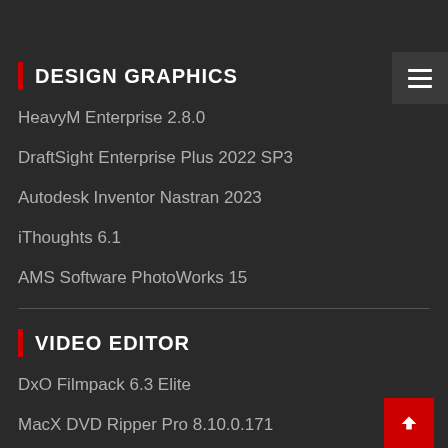DESIGN GRAPHICS
HeavyM Enterprise 2.8.0
DraftSight Enterprise Plus 2022 SP3
Autodesk Inventor Nastran 2023
iThoughts 6.1
AMS Software PhotoWorks 15
VIDEO EDITOR
DxO Filmpack 6.3 Elite
MacX DVD Ripper Pro 8.10.0.171